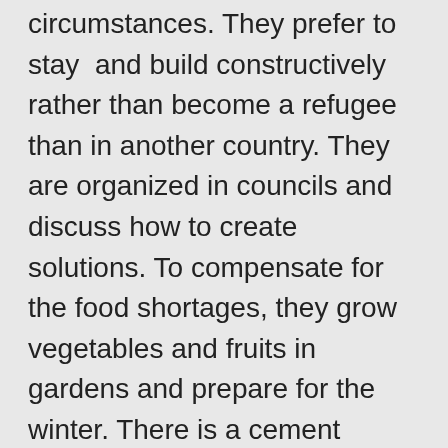As many people want to stay in Rojava under all circumstances. They prefer to stay and build constructively rather than become a refugee than in another country. They are organized in councils and discuss how to create solutions. To compensate for the food shortages, they grow vegetables and fruits in gardens and prepare for the winter. There is a cement factory now, burning building materials. They are starting to produce medicines from herbs to treat kidney or gastrointestinal ailments, to reduce dependency on the outside. That's why hundreds of thousands of people have fled cities like Aleppo or Idlib to come to Rojava, as well as injured from Jarabulus (Cerablus) and Manbij (Minbic).